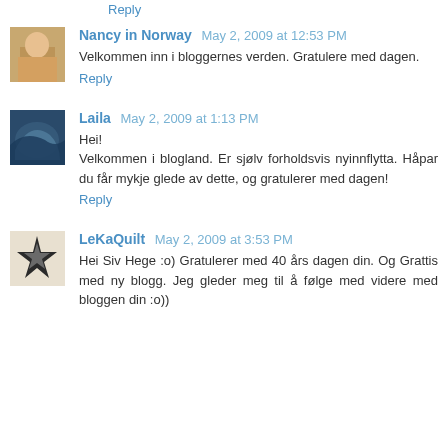Reply
Nancy in Norway May 2, 2009 at 12:53 PM
Velkommen inn i bloggernes verden. Gratulere med dagen.
Reply
Laila May 2, 2009 at 1:13 PM
Hei!
Velkommen i blogland. Er sjølv forholdsvis nyinnflytta. Håpar du får mykje glede av dette, og gratulerer med dagen!
Reply
LeKaQuilt May 2, 2009 at 3:53 PM
Hei Siv Hege :o) Gratulerer med 40 års dagen din. Og Grattis med ny blogg. Jeg gleder meg til å følge med videre med bloggen din :o))